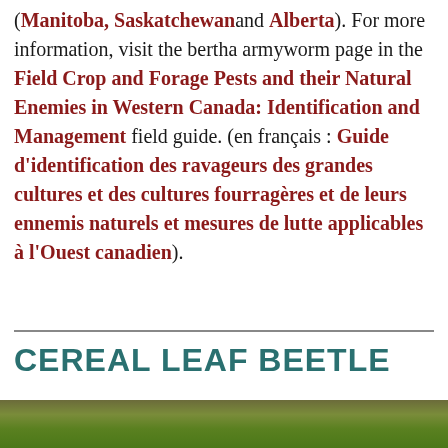(Manitoba, Saskatchewan and Alberta). For more information, visit the bertha armyworm page in the Field Crop and Forage Pests and their Natural Enemies in Western Canada: Identification and Management field guide. (en français : Guide d'identification des ravageurs des grandes cultures et des cultures fourragères et de leurs ennemis naturels et mesures de lutte applicables à l'Ouest canadien).
CEREAL LEAF BEETLE
[Figure (photo): Blurred green background photo, partial view at bottom of page, appears to show a plant or insect in a field setting.]